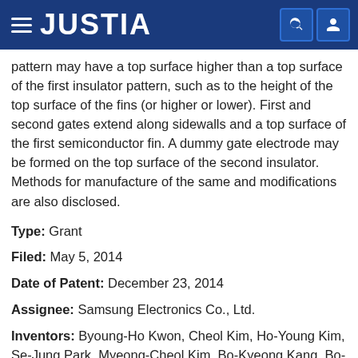JUSTIA
pattern may have a top surface higher than a top surface of the first insulator pattern, such as to the height of the top surface of the fins (or higher or lower). First and second gates extend along sidewalls and a top surface of the first semiconductor fin. A dummy gate electrode may be formed on the top surface of the second insulator. Methods for manufacture of the same and modifications are also disclosed.
Type: Grant
Filed: May 5, 2014
Date of Patent: December 23, 2014
Assignee: Samsung Electronics Co., Ltd.
Inventors: Byoung-Ho Kwon, Cheol Kim, Ho-Young Kim, Se-Jung Park, Myeong-Cheol Kim, Bo-Kyeong Kang, Bo-Un Yoon, Jae-Kwang Choi, Si-Young Choi, Suk-Hoon Jeong, Geum-Jung Seong, Hee-Don Jeong, Yong-Joon Choi, Ji-Eun Han